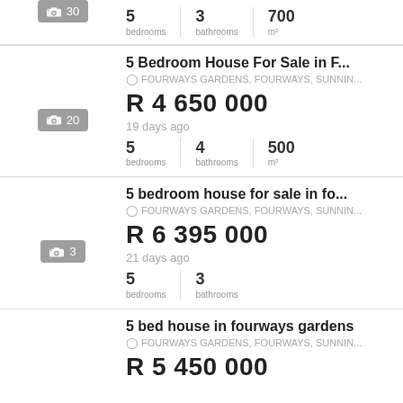Partial listing: 5 bedrooms, 3 bathrooms, 700 m², photo count 30
5 Bedroom House For Sale in F... | FOURWAYS GARDENS, FOURWAYS, SUNNIN... | R 4 650 000 | 19 days ago | 5 bedrooms | 4 bathrooms | 500 m² | 20 photos
5 bedroom house for sale in fo... | FOURWAYS GARDENS, FOURWAYS, SUNNIN... | R 6 395 000 | 21 days ago | 5 bedrooms | 3 bathrooms | 3 photos
5 bed house in fourways gardens | FOURWAYS GARDENS, FOURWAYS, SUNNIN... | R 5 450 000